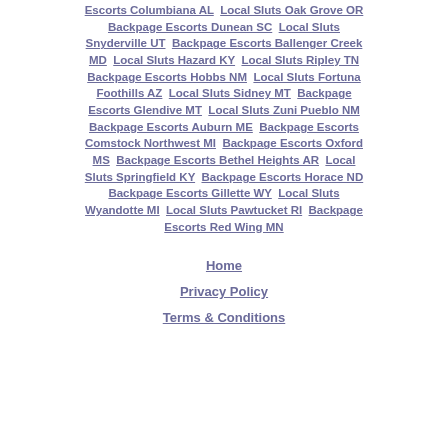Escorts Columbiana AL  Local Sluts Oak Grove OR  Backpage Escorts Dunean SC  Local Sluts Snyderville UT  Backpage Escorts Ballenger Creek MD  Local Sluts Hazard KY  Local Sluts Ripley TN  Backpage Escorts Hobbs NM  Local Sluts Fortuna Foothills AZ  Local Sluts Sidney MT  Backpage Escorts Glendive MT  Local Sluts Zuni Pueblo NM  Backpage Escorts Auburn ME  Backpage Escorts Comstock Northwest MI  Backpage Escorts Oxford MS  Backpage Escorts Bethel Heights AR  Local Sluts Springfield KY  Backpage Escorts Horace ND  Backpage Escorts Gillette WY  Local Sluts Wyandotte MI  Local Sluts Pawtucket RI  Backpage Escorts Red Wing MN
Home
Privacy Policy
Terms & Conditions